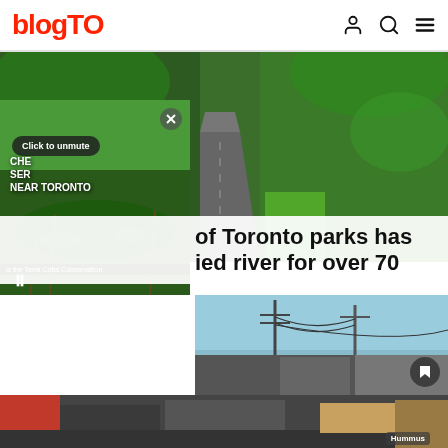blogTO
[Figure (photo): A winding paved path through dense green trees and park vegetation]
[Figure (screenshot): Video overlay showing Terra Cotta Conservation area, with close button, Click to unmute button, pause button, and text CHEAP SERIES NEAR TORONTO]
of Toronto parks has ied river for over 70
[Figure (photo): Street scene with utility poles and wires against blue sky, urban Toronto neighbourhood]
[Figure (photo): Bottom strip showing storefronts including a Hummus restaurant sign]